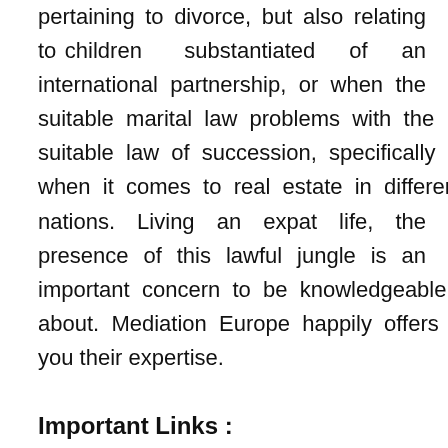pertaining to divorce, but also relating to children substantiated of an international partnership, or when the suitable marital law problems with the suitable law of succession, specifically when it comes to real estate in different nations. Living an expat life, the presence of this lawful jungle is an important concern to be knowledgeable about. Mediation Europe happily offers you their expertise.
Important Links :